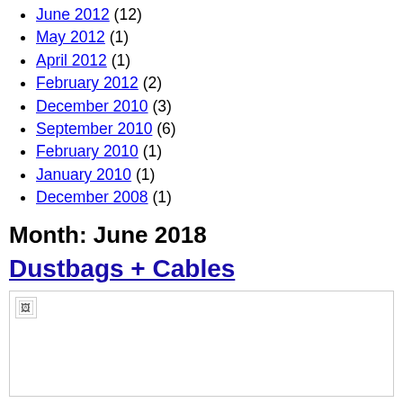June 2012 (12)
May 2012 (1)
April 2012 (1)
February 2012 (2)
December 2010 (3)
September 2010 (6)
February 2010 (1)
January 2010 (1)
December 2008 (1)
Month: June 2018
Dustbags + Cables
[Figure (photo): Broken image placeholder for a post image related to Dustbags + Cables]